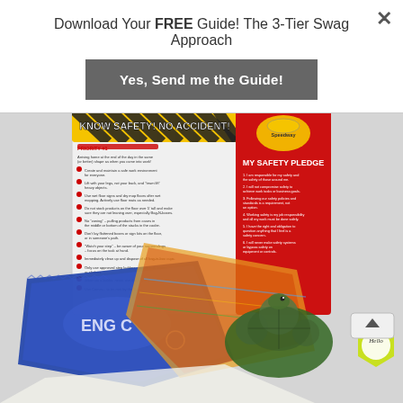×
Download Your FREE Guide! The 3-Tier Swag Approach
Yes, Send me the Guide!
[Figure (photo): A collection of promotional/swag items including a blue microfiber cloth with text 'ENG C...', a colorful bandana/scarf, a safety card reading 'KNOW SAFETY! NO ACCIDENT!' with bullet points and a red 'MY SAFETY PLEDGE' panel with Safety First Speedway logo, and a yellow-green hexagonal 'Hello' name tag badge.]